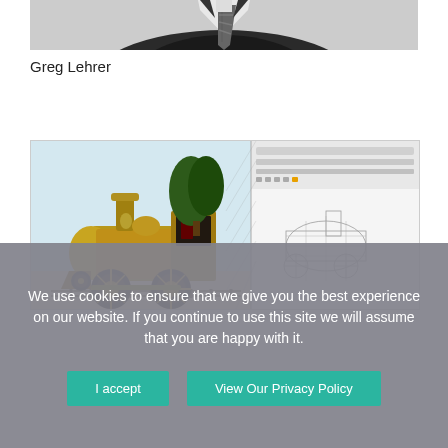[Figure (photo): Top portion of a person in a dark suit and tie, grayscale/professional headshot photo, cropped at shoulders]
Greg Lehrer
[Figure (screenshot): Screenshot showing a 3D rendered model of a vintage steam locomotive in gold/yellow color on the left side, and a wireframe version of the same model on the right side, with a browser toolbar visible at the top of the screenshot]
We use cookies to ensure that we give you the best experience on our website. If you continue to use this site we will assume that you are happy with it.
I accept
View Our Privacy Policy